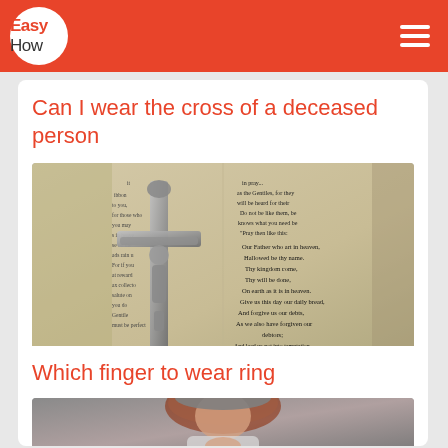Easy How
Can I wear the cross of a deceased person
[Figure (photo): A silver crucifix cross laying on an open Bible showing the Lord's Prayer text]
Which finger to wear ring
[Figure (photo): A young woman with red hair wearing a hat, looking at rings on her fingers]